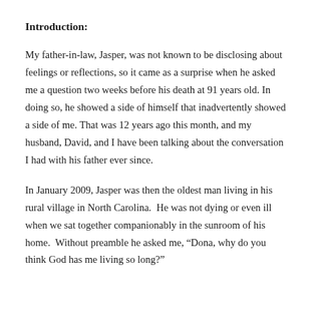Introduction:
My father-in-law, Jasper, was not known to be disclosing about feelings or reflections, so it came as a surprise when he asked me a question two weeks before his death at 91 years old. In doing so, he showed a side of himself that inadvertently showed a side of me. That was 12 years ago this month, and my husband, David, and I have been talking about the conversation I had with his father ever since.
In January 2009, Jasper was then the oldest man living in his rural village in North Carolina.  He was not dying or even ill when we sat together companionably in the sunroom of his home.  Without preamble he asked me, “Dona, why do you think God has me living so long?”